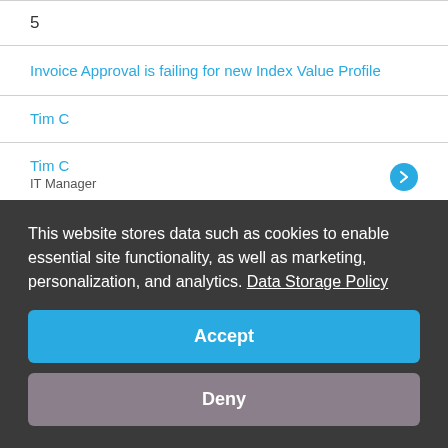5
Invoice Approval is failing for new Index Value Profile
Tim C
Tim C
IT Manager
vor 6 Monaten
2
Returning the entries count from a List
This website stores data such as cookies to enable essential site functionality, as well as marketing, personalization, and analytics. Data Storage Policy
Accept
Deny